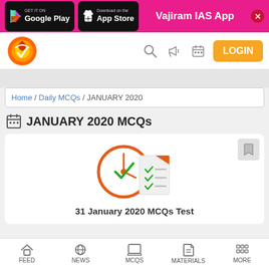[Figure (screenshot): App download banner with Google Play and App Store buttons, Vajiram IAS App text on pink background]
[Figure (logo): Vajiram & Ravi logo with navigation icons and LOGIN button]
Home / Daily MCQs / JANUARY 2020
JANUARY 2020 MCQs
[Figure (illustration): Quiz/test icon with clock and checklist]
31 January 2020 MCQs Test
FEED | NEWS | MCQS | MATERIALS | MORE